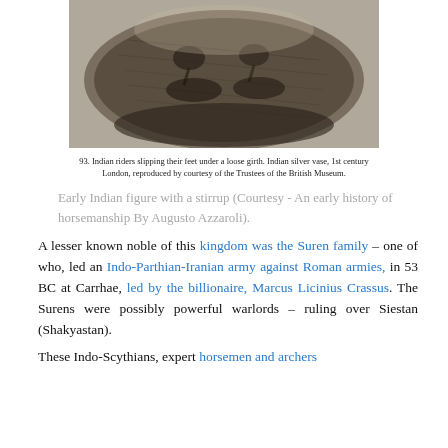[Figure (photo): Black and white photograph of Indian riders slipping their feet under a loose girth on a silver vase]
93. Indian riders slipping their feet under a loose girth. Indian silver vase, 1st century London, reproduced by courtesy of the Trustees of the British Museum.
Early Indian figure with a stirrup (Courtesy - An early history of horsemanship By Augusto Azzaroli).
A lesser known noble of this kingdom was the Suren family – one of who, led an Indo-Parthian-Iranian army against Roman armies, in 53 BC at Carrhae, led by the billionaire, Marcus Licinius Crassus. The Surens were possibly powerful warlords – ruling over Siestan (Shakyastan).
These Indo-Scythians, expert horsemen and archers